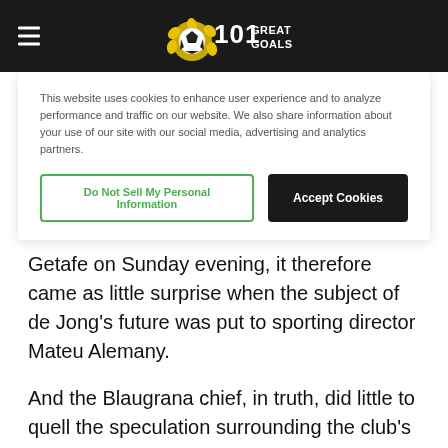101 Great Goals
This website uses cookies to enhance user experience and to analyze performance and traffic on our website. We also share information about your use of our site with our social media, advertising and analytics partners.
Do Not Sell My Personal Information | Accept Cookies
Getafe on Sunday evening, it therefore came as little surprise when the subject of de Jong's future was put to sporting director Mateu Alemany.
And the Blaugrana chief, in truth, did little to quell the speculation surrounding the club's midfield star, simply assuring that 'we haven't made any decisions on the squad' ahead of next season.